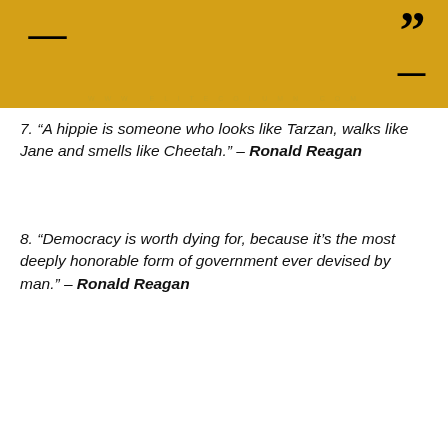[Figure (illustration): Gold/amber quote card banner with bracket corners, closing double quotation marks, and website URL www.elitecolumn.com at the bottom]
7. “A hippie is someone who looks like Tarzan, walks like Jane and smells like Cheetah.” – Ronald Reagan
8. “Democracy is worth dying for, because it’s the most deeply honorable form of government ever devised by man.” – Ronald Reagan
[Figure (illustration): Gold/amber quote card for Ronald Reagan with opening quotation marks, bracket corners, and white bold text: DEMOCRACY IS WORTH DYING FOR, BECAUSE IT'S THE MOST DEEPLY HONORABLE FORM]